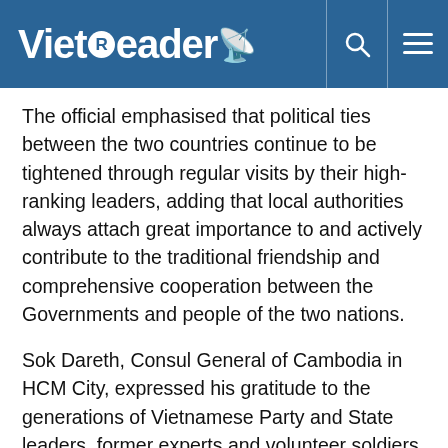VietReader
The official emphasised that political ties between the two countries continue to be tightened through regular visits by their high-ranking leaders, adding that local authorities always attach great importance to and actively contribute to the traditional friendship and comprehensive cooperation between the Governments and people of the two nations.
Sok Dareth, Consul General of Cambodia in HCM City, expressed his gratitude to the generations of Vietnamese Party and State leaders, former experts and volunteer soldiers for helping the country escape from the genocidal regime. He affirmed that the traditional friendship and solidarity between the two nations should be strengthened.
According to the diplomat, despite the complicated